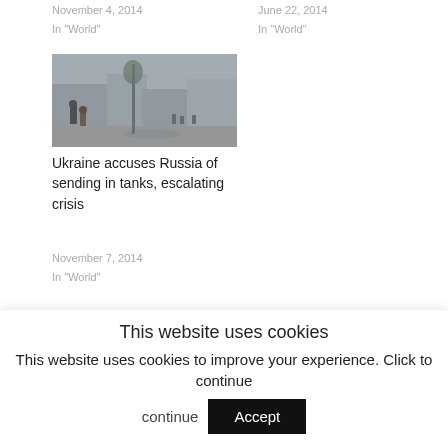November 4, 2014
In "World"
June 22, 2014
In "World"
[Figure (photo): People walking on a street in a war-affected area, grey overcast sky, buildings in background]
Ukraine accuses Russia of sending in tanks, escalating crisis
November 7, 2014
In "World"
This website uses cookies
This website uses cookies to improve your experience. Click to continue
Accept